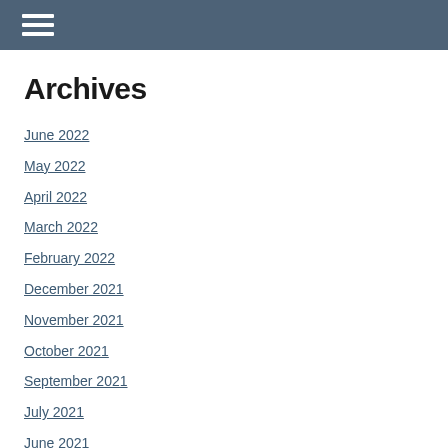Archives
June 2022
May 2022
April 2022
March 2022
February 2022
December 2021
November 2021
October 2021
September 2021
July 2021
June 2021
February 2021
December 2020
September 2020